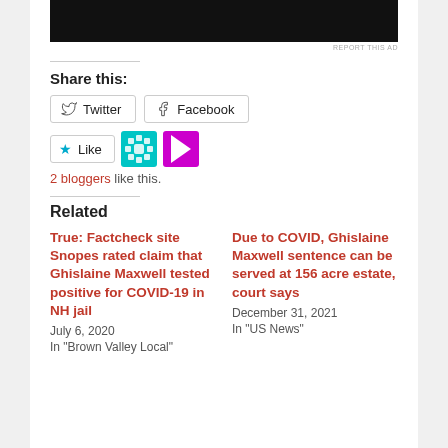[Figure (other): Black advertisement banner at top]
REPORT THIS AD
Share this:
[Figure (other): Twitter and Facebook share buttons]
[Figure (other): Like button with two blogger icons (snowflake pattern and N logo)]
2 bloggers like this.
Related
True: Factcheck site Snopes rated claim that Ghislaine Maxwell tested positive for COVID-19 in NH jail
July 6, 2020
In "Brown Valley Local"
Due to COVID, Ghislaine Maxwell sentence can be served at 156 acre estate, court says
December 31, 2021
In "US News"